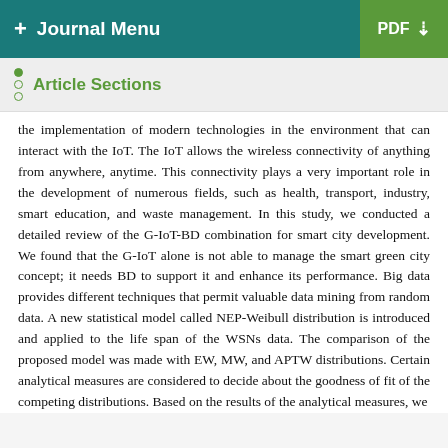+ Journal Menu | PDF
Article Sections
the implementation of modern technologies in the environment that can interact with the IoT. The IoT allows the wireless connectivity of anything from anywhere, anytime. This connectivity plays a very important role in the development of numerous fields, such as health, transport, industry, smart education, and waste management. In this study, we conducted a detailed review of the G-IoT-BD combination for smart city development. We found that the G-IoT alone is not able to manage the smart green city concept; it needs BD to support it and enhance its performance. Big data provides different techniques that permit valuable data mining from random data. A new statistical model called NEP-Weibull distribution is introduced and applied to the life span of the WSNs data. The comparison of the proposed model was made with EW, MW, and APTW distributions. Certain analytical measures are considered to decide about the goodness of fit of the competing distributions. Based on the results of the analytical measures, we